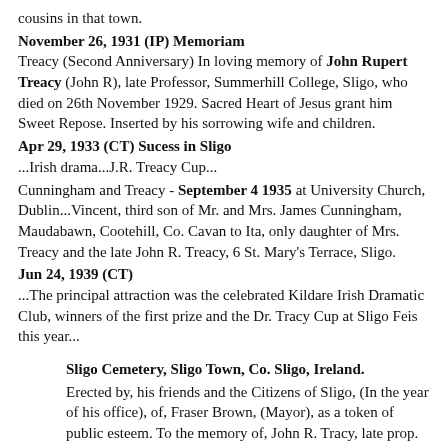cousins in that town.
November 26, 1931 (IP) Memoriam
Treacy (Second Anniversary) In loving memory of John Rupert Treacy (John R), late Professor, Summerhill College, Sligo, who died on 26th November 1929. Sacred Heart of Jesus grant him Sweet Repose. Inserted by his sorrowing wife and children.
Apr 29, 1933 (CT) Sucess in Sligo
...Irish drama...J.R. Treacy Cup...
Cunningham and Treacy - September 4 1935 at University Church, Dublin...Vincent, third son of Mr. and Mrs. James Cunningham, Maudabawn, Cootehill, Co. Cavan to Ita, only daughter of Mrs. Treacy and the late John R. Treacy, 6 St. Mary's Terrace, Sligo.
Jun 24, 1939 (CT)
...The principal attraction was the celebrated Kildare Irish Dramatic Club, winners of the first prize and the Dr. Tracy Cup at Sligo Feis this year...
Sligo Cemetery, Sligo Town, Co. Sligo, Ireland.
Erected by, his friends and the Citizens of Sligo, (In the year of his office), of, Fraser Brown, (Mayor), as a token of public esteem. To the memory of, John R. Tracy, late prop. Summer Hill College, Sligo, who died, on the 28 day of Nov. 1929. http://www.igp-web.com/IGPArchives/ire/sligo/cemeteries/sligo-town.txt